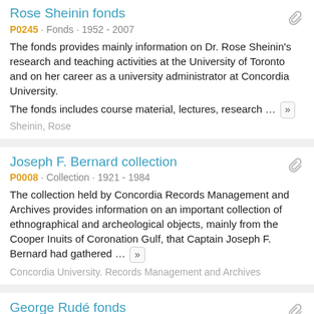Rose Sheinin fonds
P0245 · Fonds · 1952 - 2007
The fonds provides mainly information on Dr. Rose Sheinin's research and teaching activities at the University of Toronto and on her career as a university administrator at Concordia University.
The fonds includes course material, lectures, research …
Sheinin, Rose
Joseph F. Bernard collection
P0008 · Collection · 1921 - 1984
The collection held by Concordia Records Management and Archives provides information on an important collection of ethnographical and archeological objects, mainly from the Cooper Inuits of Coronation Gulf, that Captain Joseph F. Bernard had gathered …
Concordia University. Records Management and Archives
George Rudé fonds
P0009 · Fonds · [195-]- [197-]
The fonds provides information primarily on the study of the crowd in history and on European revolutions.